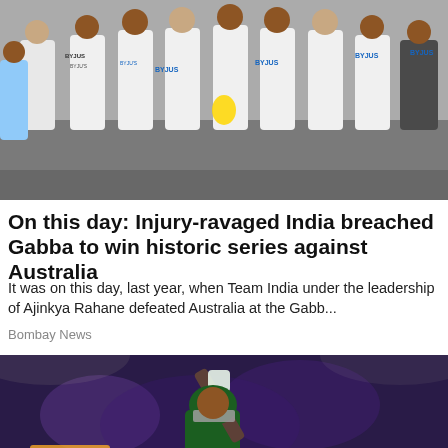[Figure (photo): India cricket team celebrating with the Border-Gavaskar Trophy, players in white uniforms with BYJU'S sponsor logos, group celebration photo]
On this day: Injury-ravaged India breached Gabba to win historic series against Australia
It was on this day, last year, when Team India under the leadership of Ajinkya Rahane defeated Australia at the Gabb...
Bombay News
[Figure (photo): Pakistan cricket batsman in green uniform and helmet raising bat after hitting a shot, night match under floodlights, 'PAKISTAN' visible on jersey]